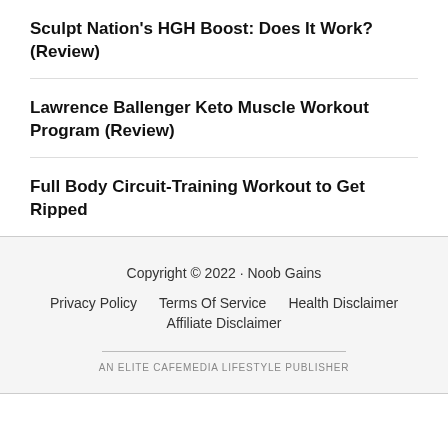Sculpt Nation's HGH Boost: Does It Work? (Review)
Lawrence Ballenger Keto Muscle Workout Program (Review)
Full Body Circuit-Training Workout to Get Ripped
Copyright © 2022 · Noob Gains
Privacy Policy   Terms Of Service   Health Disclaimer   Affiliate Disclaimer
AN ELITE CAFEMEDIA LIFESTYLE PUBLISHER